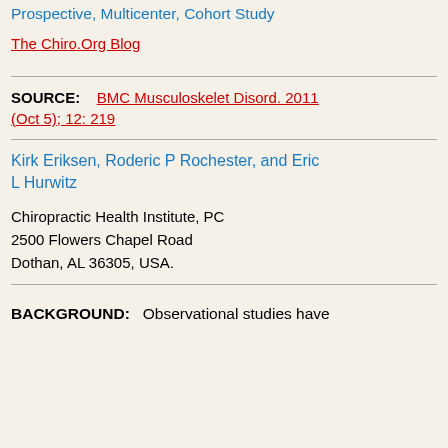Prospective, Multicenter, Cohort Study
The Chiro.Org Blog
SOURCE:    BMC Musculoskelet Disord. 2011 (Oct 5); 12: 219
Kirk Eriksen, Roderic P Rochester, and Eric L Hurwitz
Chiropractic Health Institute, PC
2500 Flowers Chapel Road
Dothan, AL 36305, USA.
BACKGROUND:    Observational studies have